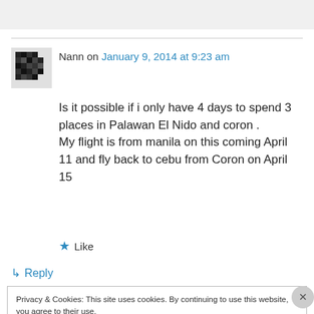[Figure (illustration): Pixelated avatar icon for user Nann]
Nann on January 9, 2014 at 9:23 am
Is it possible if i only have 4 days to spend 3 places in Palawan El Nido and coron .
My flight is from manila on this coming April 11 and fly back to cebu from Coron on April 15
★ Like
↳ Reply
Privacy & Cookies: This site uses cookies. By continuing to use this website, you agree to their use.
To find out more, including how to control cookies, see here: Cookie Policy
Close and accept